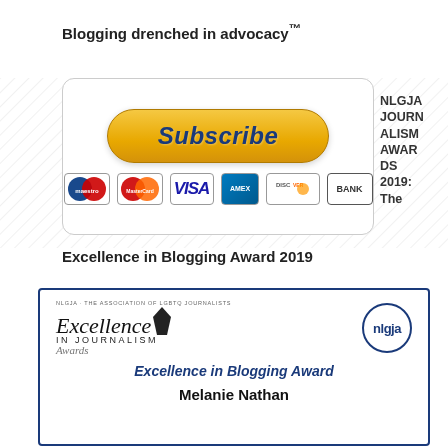Blogging drenched in advocacy™
[Figure (other): PayPal Subscribe button with payment card logos (Maestro, MasterCard, Visa, Amex, Discover, Bank)]
NLGJA JOURNALISM AWARDS 2019: The
Excellence in Blogging Award 2019
[Figure (other): NLGJA Excellence in Journalism Awards certificate showing 'Excellence in Blogging Award' awarded to Melanie Nathan]